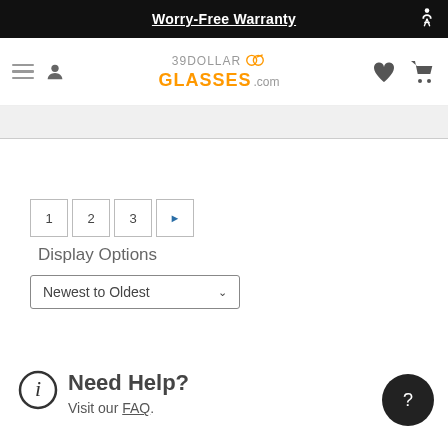Worry-Free Warranty
[Figure (logo): 39DollarGlasses.com logo with search icon, hamburger menu, user icon, heart and cart icons]
1 2 3 ▶ (pagination controls)
Display Options
Newest to Oldest (dropdown)
Need Help? Visit our FAQ.